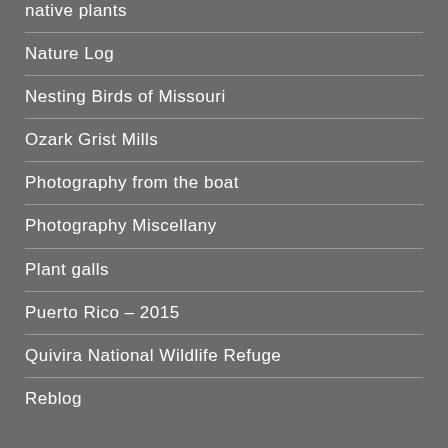native plants
Nature Log
Nesting Birds of Missouri
Ozark Grist Mills
Photography from the boat
Photography Miscellany
Plant galls
Puerto Rico – 2015
Quivira National Wildlife Refuge
Reblog